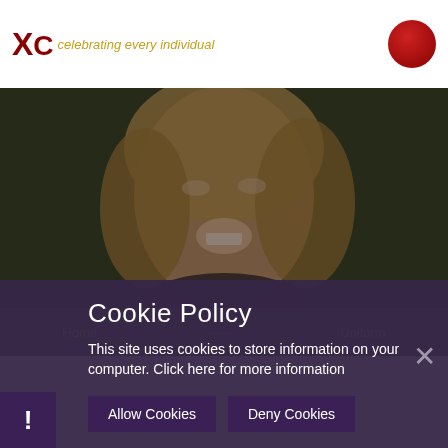[Figure (logo): School logo with red X letters and italic gold tagline 'celebrating every individual', and a red circular logo on the right]
[Figure (photo): Portrait photo of a smiling young girl with blonde hair, outdoors with green blurred background, dimmed/darkened]
Home  Uniform
Cookie Policy
This site uses cookies to store information on your computer. Click here for more information
Allow Cookies  Deny Cookies